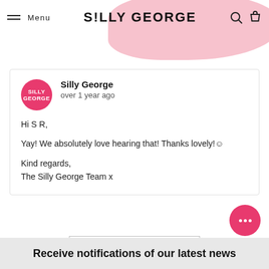Menu | SILLY GEORGE
Silly George
over 1 year ago

Hi S R,

Yay! We absolutely love hearing that! Thanks lovely!☺

Kind regards,
The Silly George Team x
SHOW MORE
Receive notifications of our latest news